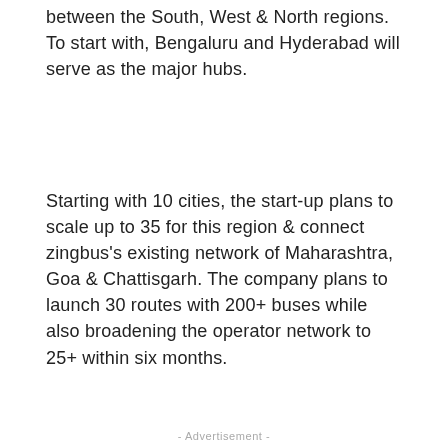between the South, West & North regions. To start with, Bengaluru and Hyderabad will serve as the major hubs.
Starting with 10 cities, the start-up plans to scale up to 35 for this region & connect zingbus's existing network of Maharashtra, Goa & Chattisgarh. The company plans to launch 30 routes with 200+ buses while also broadening the operator network to 25+ within six months.
- Advertisement -